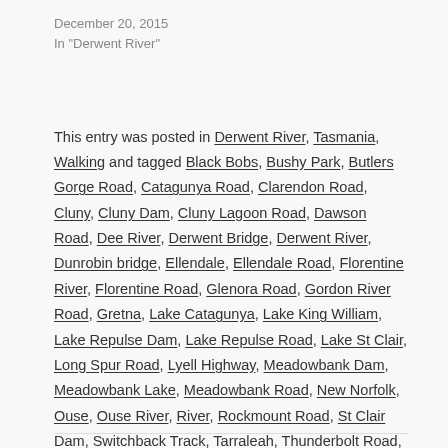December 20, 2015
In "Derwent River"
This entry was posted in Derwent River, Tasmania, Walking and tagged Black Bobs, Bushy Park, Butlers Gorge Road, Catagunya Road, Clarendon Road, Cluny, Cluny Dam, Cluny Lagoon Road, Dawson Road, Dee River, Derwent Bridge, Derwent River, Dunrobin bridge, Ellendale, Ellendale Road, Florentine River, Florentine Road, Glenora Road, Gordon River Road, Gretna, Lake Catagunya, Lake King William, Lake Repulse Dam, Lake Repulse Road, Lake St Clair, Long Spur Road, Lyell Highway, Meadowbank Dam, Meadowbank Lake, Meadowbank Road, New Norfolk, Ouse, Ouse River, River, Rockmount Road, St Clair Dam, Switchback Track, Tarraleah, Thunderbolt Road, Tyenna, Wayatinah, Wayatinah Dam, Wayatinah Lagoon, Wayatinah Power Station on October 22, 2015.